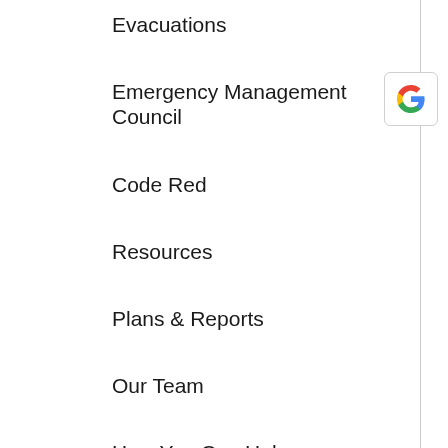Evacuations
Emergency Management Council
Code Red
Resources
Plans & Reports
Our Team
How You Can Help
Events
Newsroom
[Figure (logo): Google 'G' logo button in top right corner]